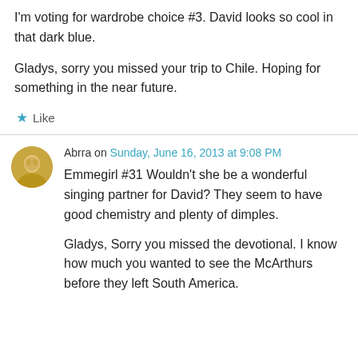I'm voting for wardrobe choice #3. David looks so cool in that dark blue.
Gladys, sorry you missed your trip to Chile. Hoping for something in the near future.
★ Like
Abrra on Sunday, June 16, 2013 at 9:08 PM
Emmegirl #31 Wouldn't she be a wonderful singing partner for David? They seem to have good chemistry and plenty of dimples.
Gladys, Sorry you missed the devotional. I know how much you wanted to see the McArthurs before they left South America.